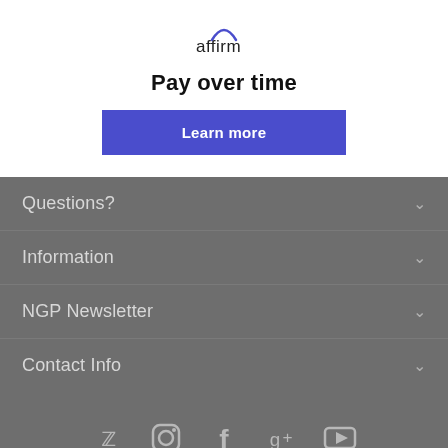[Figure (logo): Affirm logo with blue arc above text]
Pay over time
Learn more
Questions?
Information
NGP Newsletter
Contact Info
[Figure (infographic): Social media icons: Twitter, Instagram, Facebook, Google+, YouTube]